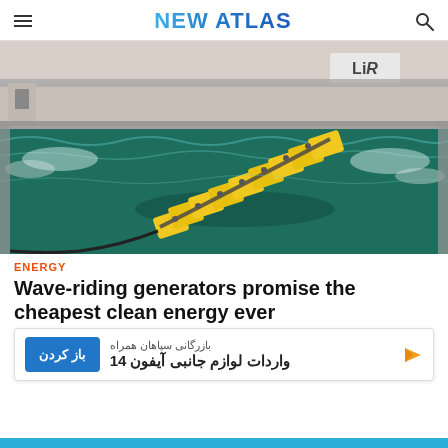NEW ATLAS
[Figure (photo): A yellow wave energy converter device floating in a wave tank test facility (LiR), with green-blue water and waves around it, indoor research facility in background.]
ENERGY
Wave-riding generators promise the cheapest clean energy ever
بازرگانی سپاهان همراه - واردات لوازم جانبی آیفون 14 [Advertisement overlay]